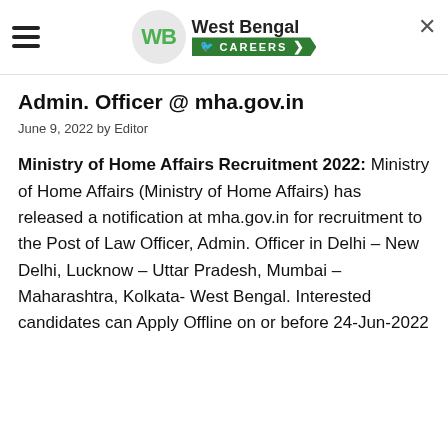West Bengal CAREERS
Admin. Officer @ mha.gov.in
June 9, 2022 by Editor
Ministry of Home Affairs Recruitment 2022: Ministry of Home Affairs (Ministry of Home Affairs) has released a notification at mha.gov.in for recruitment to the Post of Law Officer, Admin. Officer in Delhi – New Delhi, Lucknow – Uttar Pradesh, Mumbai – Maharashtra, Kolkata- West Bengal. Interested candidates can Apply Offline on or before 24-Jun-2022